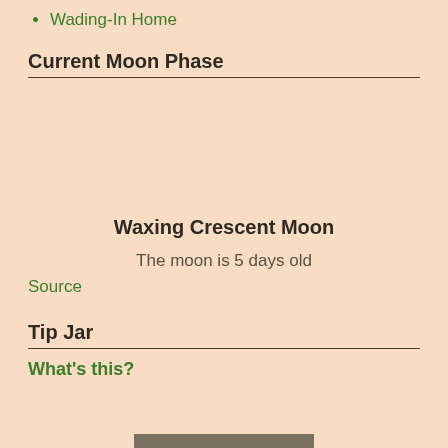Wading-In Home
Current Moon Phase
Waxing Crescent Moon
The moon is 5 days old
Source
Tip Jar
What's this?